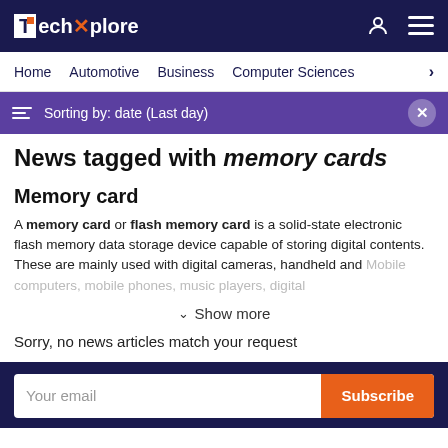TechXplore
Home | Automotive | Business | Computer Sciences
Sorting by: date (Last day)
News tagged with memory cards
Memory card
A memory card or flash memory card is a solid-state electronic flash memory data storage device capable of storing digital contents. These are mainly used with digital cameras, handheld and Mobile computers, mobile phones, music players, digital
Show more
Sorry, no news articles match your request
Your email